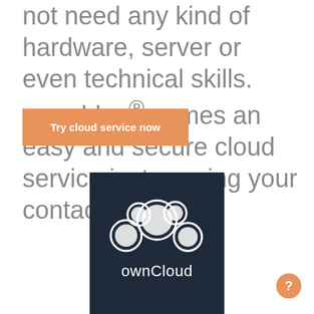not need any kind of hardware, server or even technical skills. sync.blue® comes an easy and secure cloud service just syncing your contacts.
[Figure (other): Orange button labeled 'Try cloud service now']
[Figure (logo): ownCloud logo on dark navy background — white cloud icon with circular shapes and 'ownCloud' text in white below]
[Figure (other): Orange circular help/question mark button in bottom right corner]